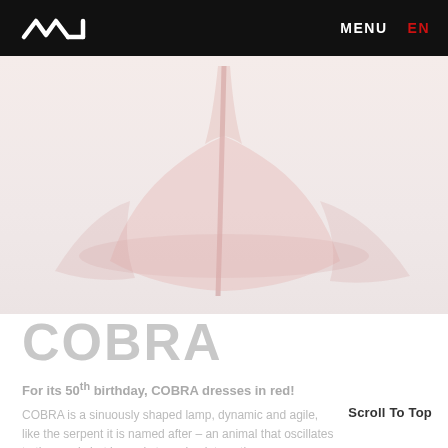MENU   EN
[Figure (photo): Faded product photo of the COBRA lamp — a sinuously shaped lamp shade in pale pink/red tones with a curved stem, on a light grey-white background.]
COBRA
For its 50th birthday, COBRA dresses in red!
COBRA is a sinuously shaped lamp, dynamic and agile, like the serpent it is named after – an animal that oscillates to the music but is ready to spring into action.
Scroll To Top